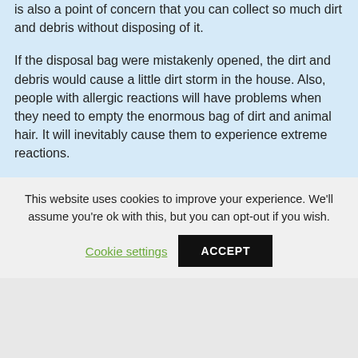is also a point of concern that you can collect so much dirt and debris without disposing of it.
If the disposal bag were mistakenly opened, the dirt and debris would cause a little dirt storm in the house. Also, people with allergic reactions will have problems when they need to empty the enormous bag of dirt and animal hair. It will inevitably cause them to experience extreme reactions.
This website uses cookies to improve your experience. We'll assume you're ok with this, but you can opt-out if you wish.
Cookie settings | ACCEPT